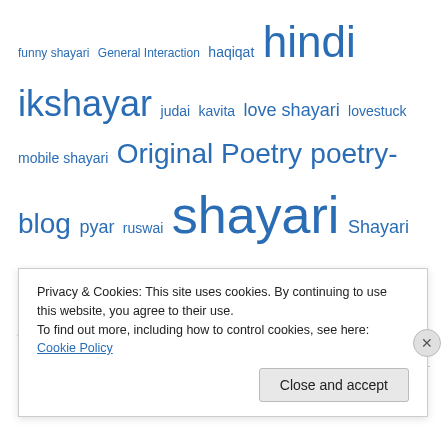funny shayari  General Interaction  haqiqat  hindi  ikshayar  judai  kavita  love shayari  lovestuck  mobile shayari  Original Poetry  poetry-blog  pyar  ruswai  shayari  Shayari Pyar ki  shayri  sher  sms  urdu  [Hindi tags]
Top Posts
Privacy & Cookies: This site uses cookies. By continuing to use this website, you agree to their use. To find out more, including how to control cookies, see here: Cookie Policy
Close and accept